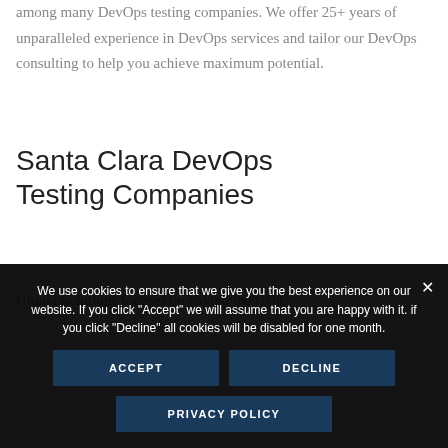among many DevOps testing companies. We offer 25+ years of unparalleled experience in DevOps services and tailor our DevOps consulting to help you achieve maximum potential.
Santa Clara DevOps Testing Companies
Utopia Solutions focuses on having the right
We use cookies to ensure that we give you the best experience on our website. If you click "Accept" we will assume that you are happy with it. if you click "Decline" all cookies will be disabled for one month.